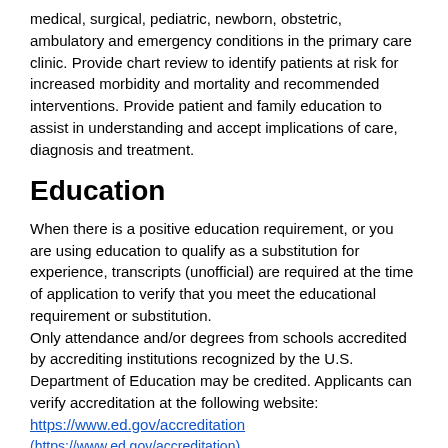medical, surgical, pediatric, newborn, obstetric, ambulatory and emergency conditions in the primary care clinic. Provide chart review to identify patients at risk for increased morbidity and mortality and recommended interventions. Provide patient and family education to assist in understanding and accept implications of care, diagnosis and treatment.
Education
When there is a positive education requirement, or you are using education to qualify as a substitution for experience, transcripts (unofficial) are required at the time of application to verify that you meet the educational requirement or substitution.
Only attendance and/or degrees from schools accredited by accrediting institutions recognized by the U.S. Department of Education may be credited. Applicants can verify accreditation at the following website:
https://www.ed.gov/accreditation
(https://www.ed.gov/accreditation)
Foreign Education: If you are using education completed in foreign colleges or universities to meet the qualification requirements, you must show that the education credentials have been evaluated by a private organization that specializes in interpretation of foreign education programs and such education has been deemed equivalent to that gained in an accredited U.S.